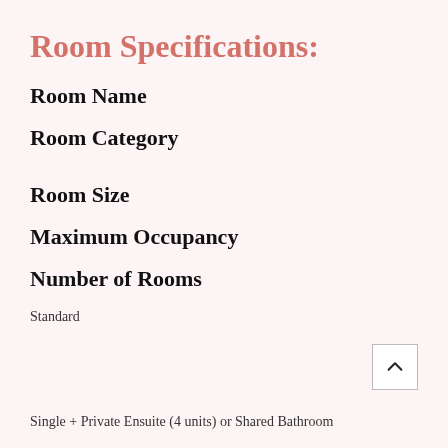Room Specifications:
Room Name
Room Category
Room Size
Maximum Occupancy
Number of Rooms
Standard
Single + Private Ensuite (4 units) or Shared Bathroom